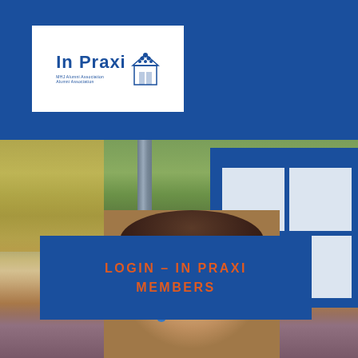[Figure (logo): In Praxi alumni association logo — white rectangle with blue 'In Praxi' text and a small stylized building/grape cluster icon, on a dark blue header bar]
[Figure (photo): Background photo of a smiling young woman with long brown hair and pink/blue tassel earrings, standing near a pole with a blue bulletin/poster board visible on the right, and a yellow building on the left, with green foliage behind]
LOGIN – IN PRAXI MEMBERS